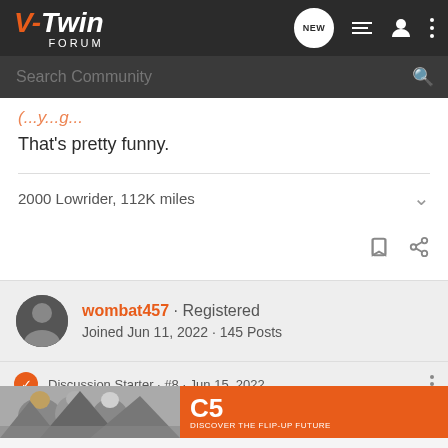V-Twin Forum
That's pretty funny.
2000 Lowrider, 112K miles
wombat457 · Registered
Joined Jun 11, 2022 · 145 Posts
Discussion Starter · #8 · Jun 15, 2022
[Figure (photo): Advertisement banner for C5 flip-up helmet - DISCOVER THE FLIP-UP FUTURE]